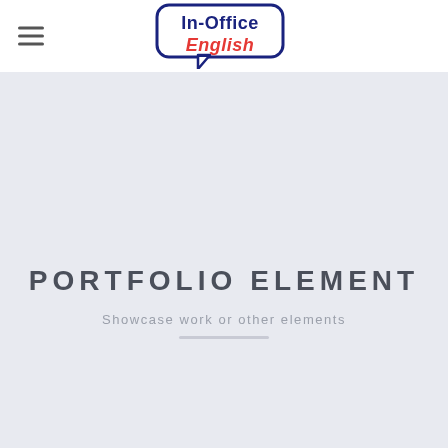In-Office English
PORTFOLIO ELEMENT
Showcase work or other elements